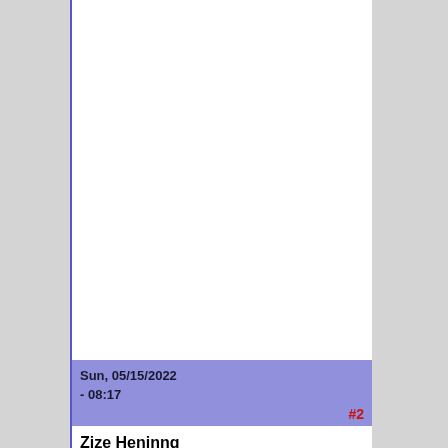Sun, 05/15/2022 - 08:17
#2
Zize Heninng
[Figure (photo): Profile avatar photo of a dark-haired man wearing sunglasses, resembling Neo from The Matrix]
Title: NooBot
Joined: 04/19/20:
Posts:
BotPoints: 42